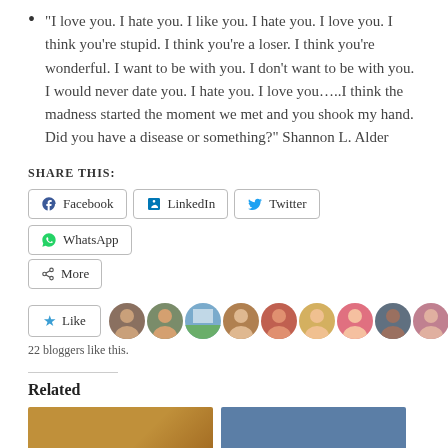“I love you. I hate you. I like you. I hate you. I love you. I think you’re stupid. I think you’re a loser. I think you’re wonderful. I want to be with you. I don’t want to be with you. I would never date you. I hate you. I love you…..I think the madness started the moment we met and you shook my hand. Did you have a disease or something?” Shannon L. Alder
SHARE THIS:
Facebook  LinkedIn  Twitter  WhatsApp  More
[Figure (infographic): Like button with star icon and a row of blogger avatar photos]
22 bloggers like this.
Related
[Figure (photo): Two related article thumbnail images side by side]